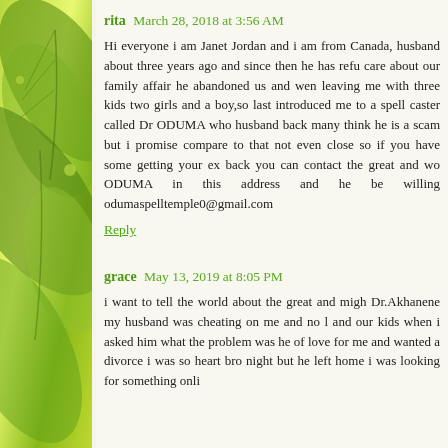rita  March 28, 2018 at 3:56 AM
Hi everyone i am Janet Jordan and i am from Canada, husband about three years ago and since then he has refu care about our family affair he abandoned us and wen leaving me with three kids two girls and a boy,so last introduced me to a spell caster called Dr ODUMA who husband back many think he is a scam but i promise compare to that not even close so if you have some getting your ex back you can contact the great and wo ODUMA in this address and he be willing odumaspelltemple0@gmail.com
Reply
grace  May 13, 2019 at 8:05 PM
i want to tell the world about the great and migh Dr.Akhanene my husband was cheating on me and no l and our kids when i asked him what the problem was he of love for me and wanted a divorce i was so heart bro night but he left home i was looking for something onli